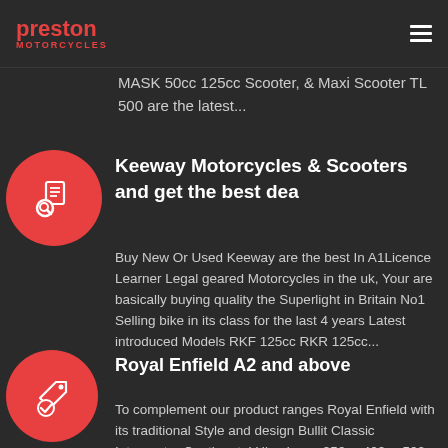preston MOTORCYCLES
MASK 50cc 125cc Scooter, & Maxi Scooter TL 500 are the latest...
Keeway Motorcycles & Scooters and get the best dea
Buy New Or Used Keeway are the best In A1Licence Learner Legal geared Motorcycles in the uk, Your are basically buying quality the Superlight in Britain No1 Selling bike in its class for the last 4 years Latest introduced Models RKF 125cc RKR 125cc...
Royal Enfield A2 and above
To complement our product ranges Royal Enfield with its traditional Style and design Bullit Classic Interceptor Continental Himalayan 350cc 400cc 500cc 650cc now with low 6.9Apr Finance PCP or